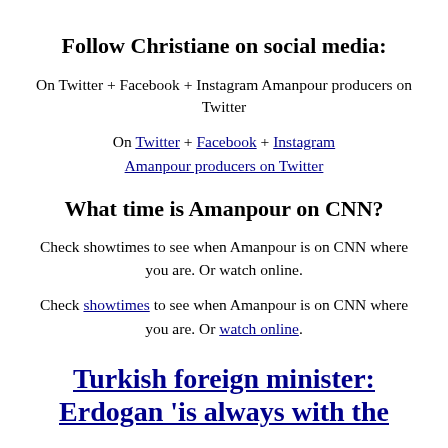Follow Christiane on social media:
On Twitter + Facebook + Instagram Amanpour producers on Twitter
On Twitter + Facebook + Instagram Amanpour producers on Twitter
What time is Amanpour on CNN?
Check showtimes to see when Amanpour is on CNN where you are. Or watch online.
Check showtimes to see when Amanpour is on CNN where you are. Or watch online.
Turkish foreign minister: Erdogan 'is always with the